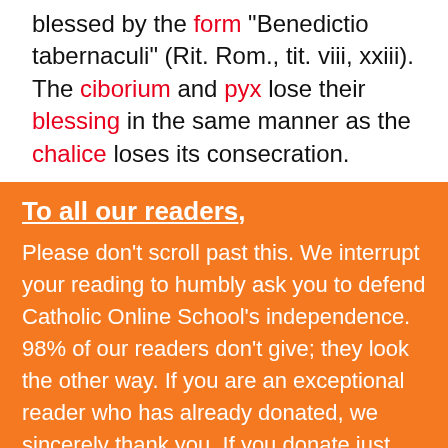blessed by the form "Benedictio tabernaculi" (Rit. Rom., tit. viii, xxiii). The ciborium and pyx lose their blessing in the same manner as the chalice loses its consecration.
To all our readers,
Please don't scroll past this. We interrupt your reading to humbly ask you to defend Catholic Online School's independence. 98% of our readers don't give; they look the other way. If you are an exceptional reader who has already donated, we sincerely thank you. If you donate just $10.00, or whatever you can, Catholic